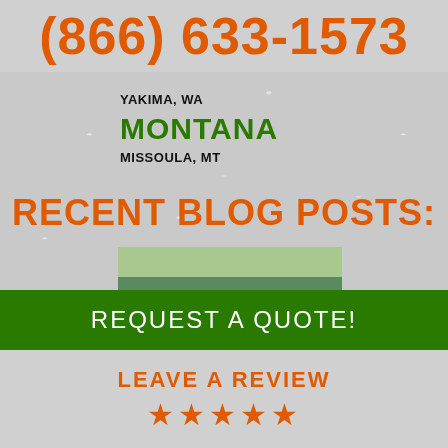(866) 633-1573
YAKIMA, WA
MONTANA
MISSOULA, MT
RECENT BLOG POSTS:
[Figure (photo): Four people standing in front of a green vehicle outdoors. Two are holding certificates or papers. Group photo likely from a company scholarship or award event.]
REQUEST A QUOTE!
LEAVE A REVIEW
★★★★★